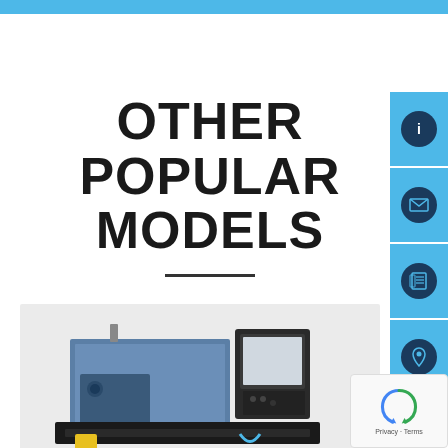OTHER POPULAR MODELS
[Figure (photo): CNC lathe machine with blue and black body, control panel on right side, positioned on a grey background card]
[Figure (other): Side navigation panel with four blue buttons containing icons: info (i), email (envelope), news/document, and location pin]